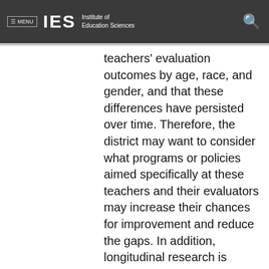≡ MENU  IES  Institute of Education Sciences
teachers' evaluation outcomes by age, race, and gender, and that these differences have persisted over time. Therefore, the district may want to consider what programs or policies aimed specifically at these teachers and their evaluators may increase their chances for improvement and reduce the gaps. In addition, longitudinal research is needed to examine whether